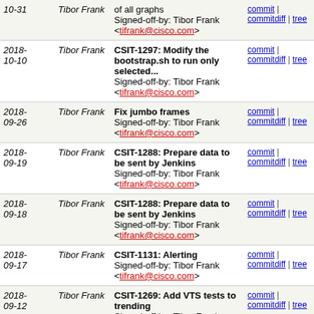| Date | Author | Message | Links |
| --- | --- | --- | --- |
| 10-31 | Tibor Frank | of all graphs
Signed-off-by: Tibor Frank <tifrank@cisco.com> | commit | commitdiff | tree |
| 2018-10-10 | Tibor Frank | CSIT-1297: Modify the bootstrap.sh to run only selected...
Signed-off-by: Tibor Frank <tifrank@cisco.com> | commit | commitdiff | tree |
| 2018-09-26 | Tibor Frank | Fix jumbo frames
Signed-off-by: Tibor Frank <tifrank@cisco.com> | commit | commitdiff | tree |
| 2018-09-19 | Tibor Frank | CSIT-1288: Prepare data to be sent by Jenkins
Signed-off-by: Tibor Frank <tifrank@cisco.com> | commit | commitdiff | tree |
| 2018-09-18 | Tibor Frank | CSIT-1288: Prepare data to be sent by Jenkins
Signed-off-by: Tibor Frank <tifrank@cisco.com> | commit | commitdiff | tree |
| 2018-09-17 | Tibor Frank | CSIT-1131: Alerting
Signed-off-by: Tibor Frank <tifrank@cisco.com> | commit | commitdiff | tree |
| 2018-09-12 | Tibor Frank | CSIT-1269: Add VTS tests to trending
Signed-off-by: Tibor Frank <tifrank@cisco.com> | commit | commitdiff | tree |
| 2018-09-07 | Tibor Frank | CSIT-1270: Split feature tests in trending
Signed-off-by: Tibor Frank | commit | commitdiff | tree |